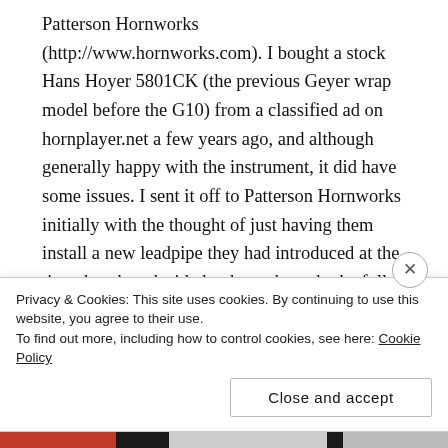Patterson Hornworks (http://www.hornworks.com). I bought a stock Hans Hoyer 5801CK (the previous Geyer wrap model before the G10) from a classified ad on hornplayer.net a few years ago, and although generally happy with the instrument, it did have some issues. I sent it off to Patterson Hornworks initially with the thought of just having them install a new leadpipe they had introduced at the time, but then decided to have them do the full Hybrid Conversion process (described in more detail on the site). I've been incredibly happy with it since then – they describe the process as sort of giving you some of the benefits of a custom horn while still being a bit more affordable since
Privacy & Cookies: This site uses cookies. By continuing to use this website, you agree to their use.
To find out more, including how to control cookies, see here: Cookie Policy
Close and accept